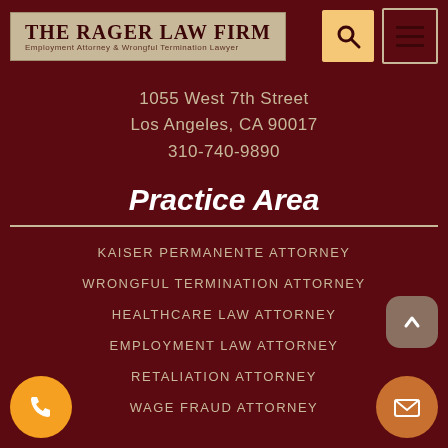THE RAGER LAW FIRM
Employment Attorney & Wrongful Termination Lawyer
1055 West 7th Street
Los Angeles, CA 90017
310-740-9890
Practice Area
KAISER PERMANENTE ATTORNEY
WRONGFUL TERMINATION ATTORNEY
HEALTHCARE LAW ATTORNEY
EMPLOYMENT LAW ATTORNEY
RETALIATION ATTORNEY
WAGE FRAUD ATTORNEY